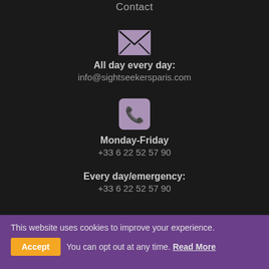Contact
[Figure (illustration): Purple envelope icon representing email contact]
All day every day:
info@sightseekersparis.com
[Figure (illustration): Purple phone icon in a rounded square representing phone contact]
Monday-Friday
+33 6 22 52 57 90
Every day/emergency:
+33 6 22 52 57 90
This website uses cookies to improve your experience.
Accept  You can opt out at any time. Read More